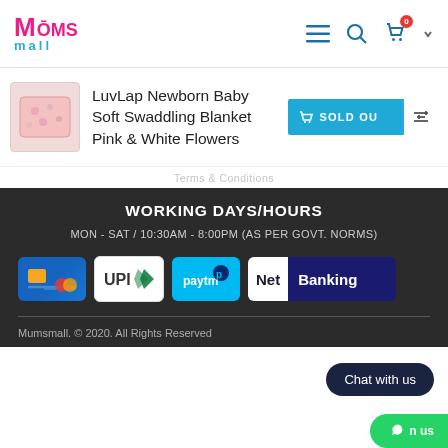Mumsmall logo, navigation icons (menu, search, cart with badge 0)
LuvLap Newborn Baby Soft Swaddling Blanket Pink & White Flowers
[Figure (photo): Small thumbnail of a pink floral baby swaddling blanket]
SOLD OUT
WORKING DAYS/HOURS
MON - SAT / 10:30AM - 8:00PM (AS PER GOVT. NORMS)
[Figure (logo): Payment method icons: Credit/Debit Card, UPI, Paytm, Net Banking]
Mumsmall. © 2020. All Rights Reserved
Chat with us